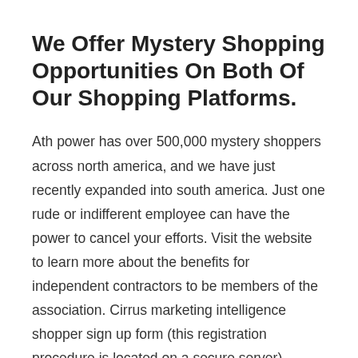We Offer Mystery Shopping Opportunities On Both Of Our Shopping Platforms.
Ath power has over 500,000 mystery shoppers across north america, and we have just recently expanded into south america. Just one rude or indifferent employee can have the power to cancel your efforts. Visit the website to learn more about the benefits for independent contractors to be members of the association. Cirrus marketing intelligence shopper sign up form (this registration procedure is located on a secure server). Mystery shop and survey companies that need canadian workers you can earn money at home in canada. You